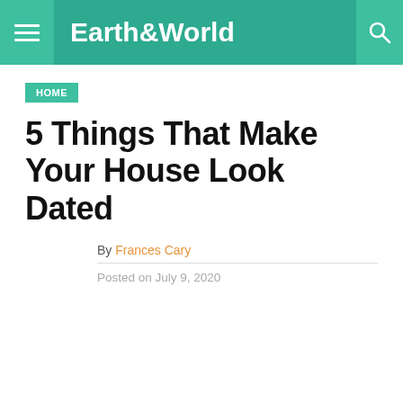Earth&World
HOME
5 Things That Make Your House Look Dated
By Frances Cary
Posted on July 9, 2020